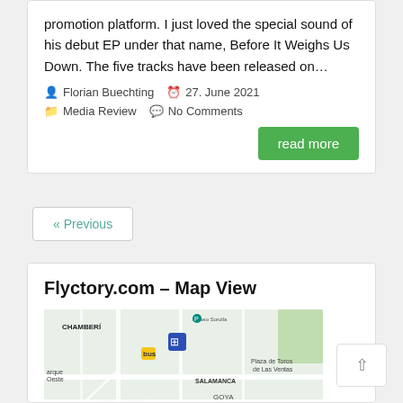promotion platform. I just loved the special sound of his debut EP under that name, Before It Weighs Us Down. The five tracks have been released on…
Florian Buechting  27. June 2021  Media Review  No Comments
read more
« Previous
Flyctory.com – Map View
[Figure (map): Google Maps view showing central Madrid area including CHAMBERÍ, SALAMANCA, GOYA neighborhoods with various landmarks]